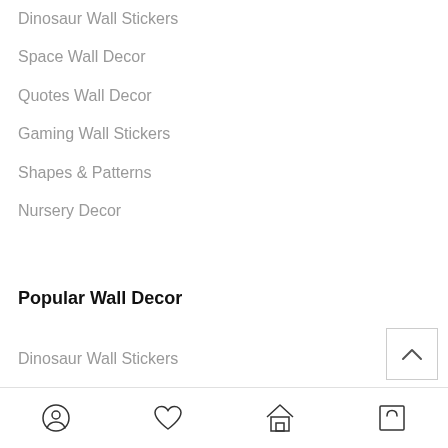Dinosaur Wall Stickers
Space Wall Decor
Quotes Wall Decor
Gaming Wall Stickers
Shapes & Patterns
Nursery Decor
Popular Wall Decor
Dinosaur Wall Stickers
Space Wall Decor
Navigation bar with account, wishlist, home, and cart icons